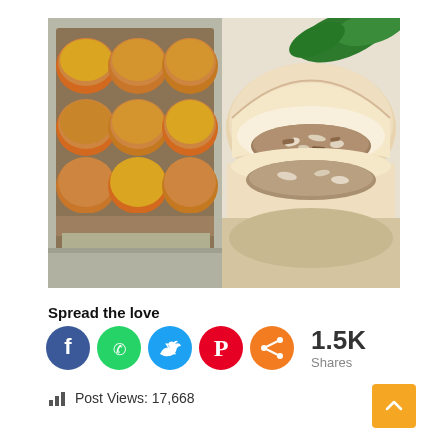[Figure (photo): Two side-by-side food photos: left shows golden-brown dinner rolls in a foil-lined baking pan with filling visible; right shows a close-up of a torn open filled bread roll with meat and coconut filling.]
Spread the love
[Figure (infographic): Social media share buttons: Facebook (blue), WhatsApp (green), Twitter (blue), Pinterest (red), Share (orange), followed by '1.5K Shares' count.]
Post Views: 17,668